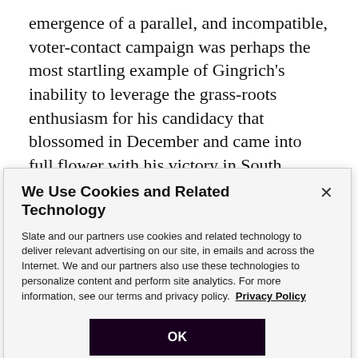emergence of a parallel, and incompatible, voter-contact campaign was perhaps the most startling example of Gingrich's inability to leverage the grass-roots enthusiasm for his candidacy that blossomed in December and came into full flower with his victory in South Carolina. Primaries pose a distinct challenge to the campaign organizer, since the most durable political institution—the party, usually a repository of data on voters and guilds of volunteer workers—refuses to play
We Use Cookies and Related Technology
Slate and our partners use cookies and related technology to deliver relevant advertising on our site, in emails and across the Internet. We and our partners also use these technologies to personalize content and perform site analytics. For more information, see our terms and privacy policy. Privacy Policy
OK